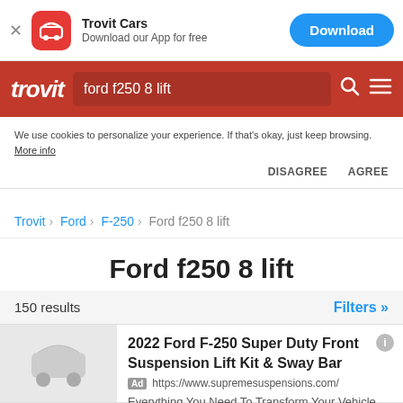[Figure (screenshot): App banner with X close button, red rounded square car icon, Trovit Cars app name, Download our App for free text, and blue Download button]
[Figure (screenshot): Trovit red navigation bar with italic trovit logo, search box showing 'ford f250 8 lift', magnifying glass icon, and hamburger menu icon]
We use cookies to personalize your experience. If that's okay, just keep browsing. More info
DISAGREE   AGREE
Trovit > Ford > F-250 > Ford f250 8 lift
Ford f250 8 lift
150 results
Filters »
2022 Ford F-250 Super Duty Front Suspension Lift Kit & Sway Bar
Ad https://www.supremesuspensions.com/
Everything You Need To Transform Your Vehicle Into The Offroad Machine It Was Meant To Be. We Are Proud Of Every Produ...